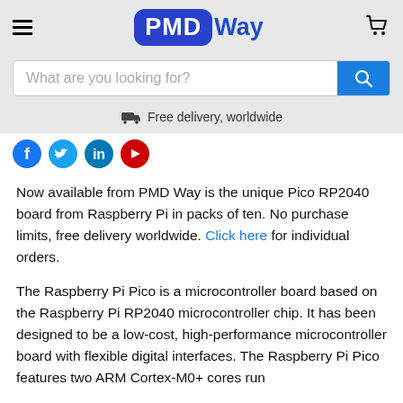PMD Way
What are you looking for?
Free delivery, worldwide
Now available from PMD Way is the unique Pico RP2040 board from Raspberry Pi in packs of ten. No purchase limits, free delivery worldwide. Click here for individual orders.
The Raspberry Pi Pico is a microcontroller board based on the Raspberry Pi RP2040 microcontroller chip. It has been designed to be a low-cost, high-performance microcontroller board with flexible digital interfaces. The Raspberry Pi Pico features two ARM Cortex-M0+ cores run at 133MHz, 256KB RAM, 26 GPIO, and more.